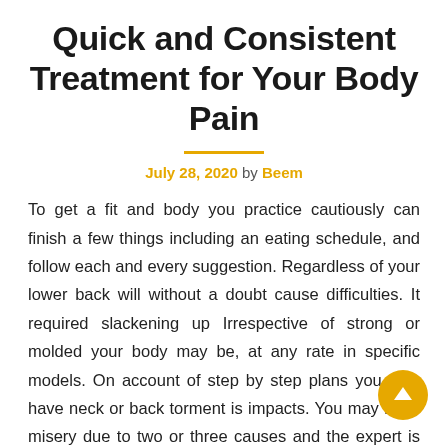Quick and Consistent Treatment for Your Body Pain
July 28, 2020 by Beem
To get a fit and body you practice cautiously can finish a few things including an eating schedule, and follow each and every suggestion. Regardless of your lower back will without a doubt cause difficulties. It required slackening up Irrespective of strong or molded your body may be, at any rate in specific models. On account of step by step plans you may have neck or back torment is impacts. You may have misery due to two or three causes and the expert is express' lion's offer that downturn and